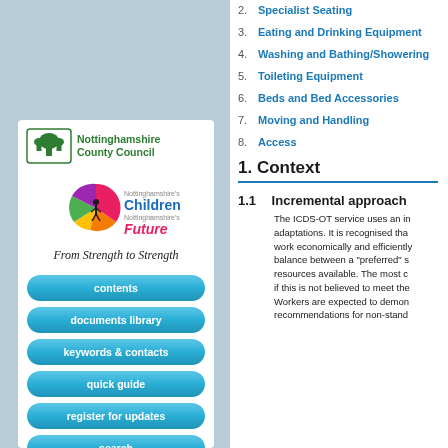[Figure (logo): Nottinghamshire County Council tree logo with two figures]
[Figure (logo): Nottinghamshire's Children Future circular logo with coloured segments and human figures]
From Strength to Strength
contents
documents library
keywords & contacts
quick guide
register for updates
search
regulatory framework
2. Specialist Seating
3. Eating and Drinking Equipment
4. Washing and Bathing/Showering
5. Toileting Equipment
6. Beds and Bed Accessories
7. Moving and Handling
8. Access
1. Context
1.1   Incremental approach
The ICDS-OT service uses an in adaptations. It is recognised tha work economically and efficiently balance between a "preferred" s resources available. The most c if this is not believed to meet the Workers are expected to demon recommendations for non-stand